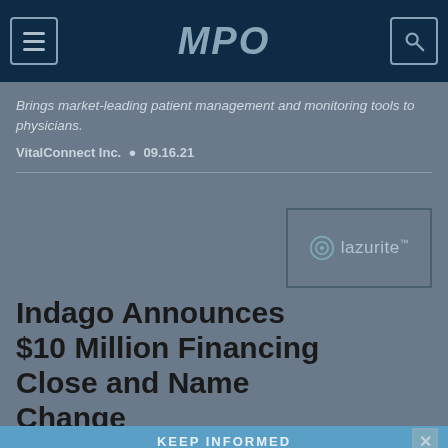MPO
Brings market-leading patient management and monitoring tools to physicians.
VitalConnect Inc.  •  09.16.21
[Figure (logo): Lazurite logo with circular target icon and text 'lazurite™']
Indago Announces $10 Million Financing Close and Name Change
KEEP INFORMED
SIGN UP TO RECEIVE OUR FREE ENEWSLETTER!
MEDICAL PRODUCT OUTSOURCING MAGAZINE